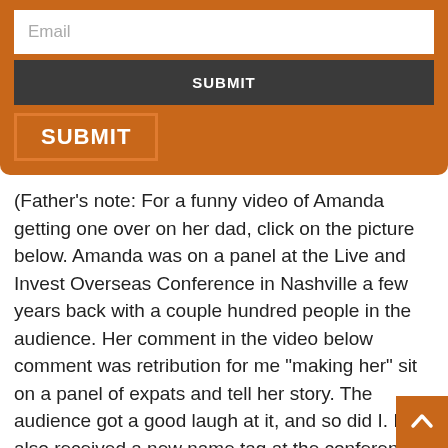[Figure (screenshot): Orange form widget with an email input field, a dark gray SUBMIT button, and an orange SUBMIT button below.]
(Father’s note: For a funny video of Amanda getting one over on her dad, click on the picture below. Amanda was on a panel at the Live and Invest Overseas Conference in Nashville a few years back with a couple hundred people in the audience. Her comment in the video below comment was retribution for me “making her” sit on a panel of expats and tell her story. The audience got a good laugh at it, and so did I. I also received a new name tag at the conference and have been called “Señor Si” by several since then. Ahhhh Kids. They certainly keep us humble for sure.)